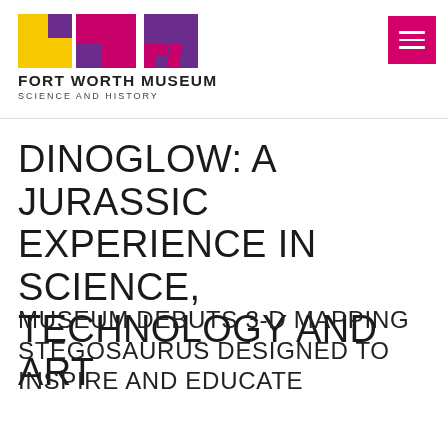Fort Worth Museum of Science and History
[Figure (logo): Fort Worth Museum of Science and History logo — colorful geometric squares in yellow, magenta, and purple arranged in a mosaic pattern]
DINOGLOW: A JURASSIC EXPERIENCE IN SCIENCE, TECHNOLOGY AND ART
MUSEUM DEBUTS 3-D MAPPING STEGOSAURUS DESIGNED TO INSPIRE AND EDUCATE